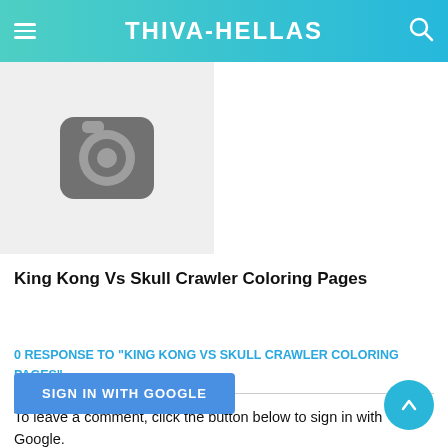THIVA-HELLAS
[Figure (illustration): Placeholder image icon — dark grey rounded square with a camera icon (circle with inner ring) on a light grey background]
King Kong Vs Skull Crawler Coloring Pages
0 RESPONSE TO "KING KONG VS SKULL CRAWLER COLORING PAGES"
To leave a comment, click the button below to sign in with Google.